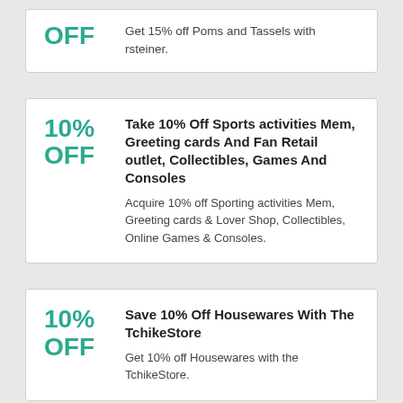OFF — Get 15% off Poms and Tassels with rsteiner.
10% OFF — Take 10% Off Sports activities Mem, Greeting cards And Fan Retail outlet, Collectibles, Games And Consoles. Acquire 10% off Sporting activities Mem, Greeting cards & Lover Shop, Collectibles, Online Games & Consoles.
10% OFF — Save 10% Off Housewares With The TchikeStore. Get 10% off Housewares with the TchikeStore.
Take 10% Off of Precious jewelry &